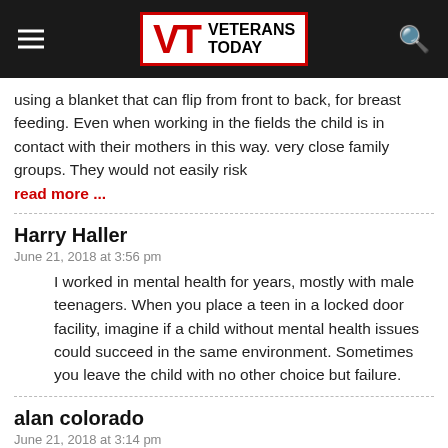Veterans Today
using a blanket that can flip from front to back, for breast feeding. Even when working in the fields the child is in contact with their mothers in this way. very close family groups. They would not easily risk
read more ...
Harry Haller
June 21, 2018 at 3:56 pm
I worked in mental health for years, mostly with male teenagers. When you place a teen in a locked door facility, imagine if a child without mental health issues could succeed in the same environment. Sometimes you leave the child with no other choice but failure.
alan colorado
June 21, 2018 at 3:14 pm
VT news sinks to new lows and it's obvious what is